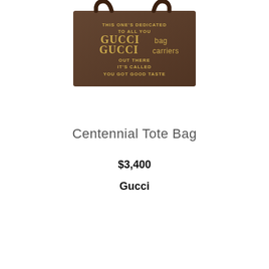[Figure (photo): A brown Gucci Centennial Tote Bag with gold text reading: THIS ONE'S DEDICATED TO ALL YOU GUCCI bag GUCCI carriers OUT THERE IT'S CALLED YOU GOT GOOD TASTE]
Centennial Tote Bag
$3,400
Gucci